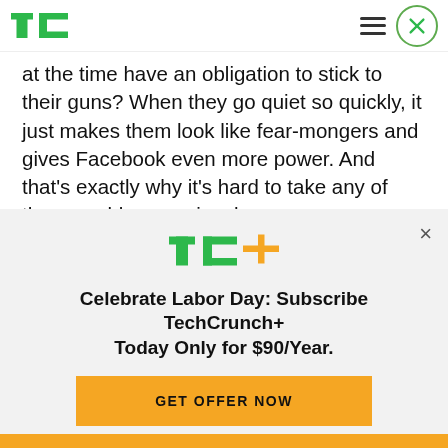TechCrunch
at the time have an obligation to stick to their guns? When they go quiet so quickly, it just makes them look like fear-mongers and gives Facebook even more power. And that's exactly why it's hard to take any of these problems seriously.
Facebook is only evil as long as saying Facebook is
[Figure (logo): TC+ logo with green TC letters and orange plus sign]
Celebrate Labor Day: Subscribe TechCrunch+ Today Only for $90/Year.
GET OFFER NOW